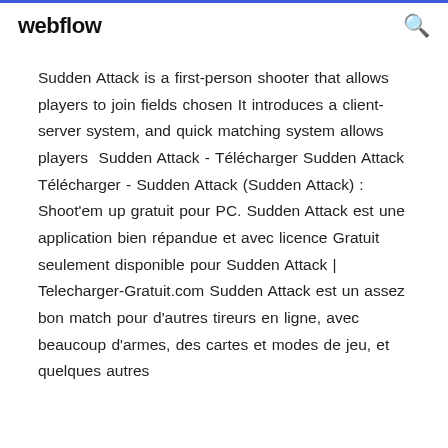webflow
Sudden Attack is a first-person shooter that allows players to join fields chosen It introduces a client-server system, and quick matching system allows players  Sudden Attack - Télécharger Sudden Attack Télécharger - Sudden Attack (Sudden Attack) : Shoot'em up gratuit pour PC. Sudden Attack est une application bien répandue et avec licence Gratuit seulement disponible pour Sudden Attack | Telecharger-Gratuit.com Sudden Attack est un assez bon match pour d'autres tireurs en ligne, avec beaucoup d'armes, des cartes et modes de jeu, et quelques autres